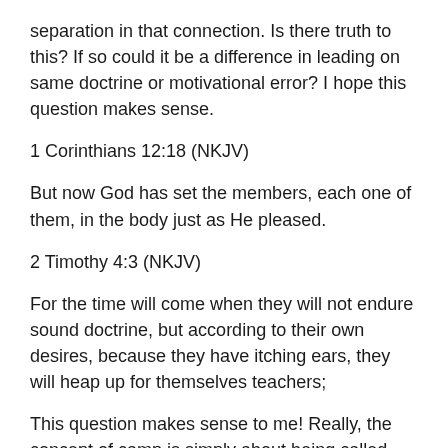separation in that connection. Is there truth to this? If so could it be a difference in leading on same doctrine or motivational error? I hope this question makes sense.
1 Corinthians 12:18 (NKJV)
But now God has set the members, each one of them, in the body just as He pleased.
2 Timothy 4:3 (NKJV)
For the time will come when they will not endure sound doctrine, but according to their own desires, because they have itching ears, they will heap up for themselves teachers;
This question makes sense to me! Really, the concept of camp is simply about being called together to similar things, a direction. Yet by being similar belief this kind of